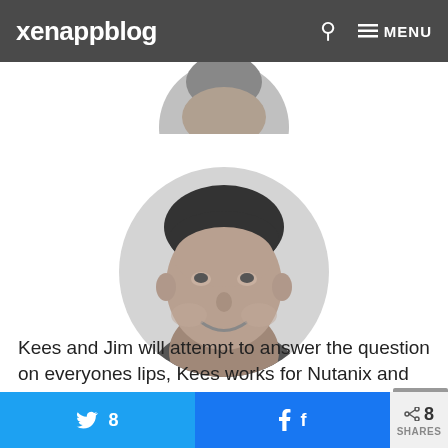xenappblog  🔍  ≡ MENU
[Figure (photo): Black and white circular profile photo of a smiling man with dark hair, partially cropped at top (previous person) and a full circular portrait below]
Kees and Jim will attempt to answer the question on everyones lips, Kees works for Nutanix and Jim for Atlantis. While (hopefully) they won't be at each others
8  [Twitter share button]  [Facebook share button]  < 8 SHARES